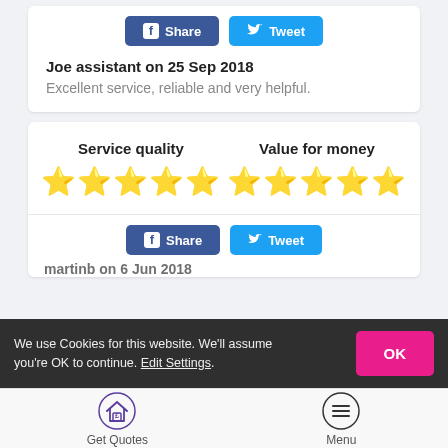[Figure (screenshot): Facebook Share and Twitter Tweet buttons at top of review card]
Joe assistant on 25 Sep 2018
Excellent service, reliable and very helpful.
Service quality
[Figure (other): Five gold stars rating for Service quality]
Value for money
[Figure (other): Five gold stars rating for Value for money]
[Figure (screenshot): Facebook Share and Twitter Tweet buttons at bottom of second review card]
martinb on 6 Jun 2018
We use Cookies for this website. We'll assume you're OK to continue. Edit Settings.
[Figure (other): Get Quotes icon - house with pound sign]
Get Quotes
[Figure (other): Menu icon - three horizontal lines]
Menu